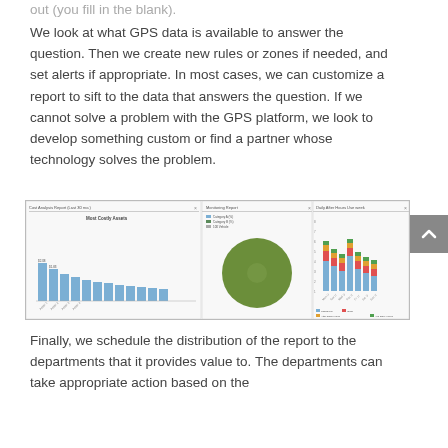out (you fill in the blank).
We look at what GPS data is available to answer the question. Then we create new rules or zones if needed, and set alerts if appropriate. In most cases, we can customize a report to sift to the data that answers the question. If we cannot solve a problem with the GPS platform, we look to develop something custom or find a partner whose technology solves the problem.
[Figure (screenshot): Screenshot showing three GPS report windows: a bar chart of 'Most Costly Assets', a pie chart (green donut/circle), and a stacked bar chart showing time-based data.]
Finally, we schedule the distribution of the report to the departments that it provides value to. The departments can take appropriate action based on the